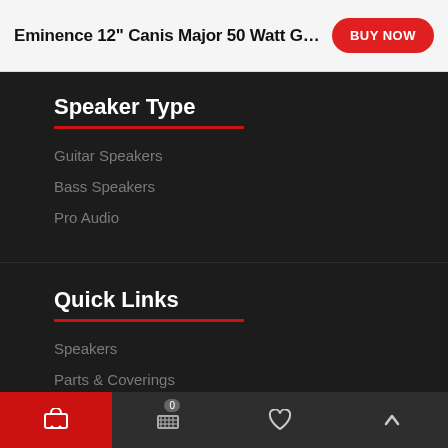Eminence 12" Canis Major 50 Watt G...
Speaker Type
Guitar Speakers
Bass Speakers
Pro Audio
Quick Links
Speakers
Parts & Coverings
Cart | 0 | Wishlist | Top